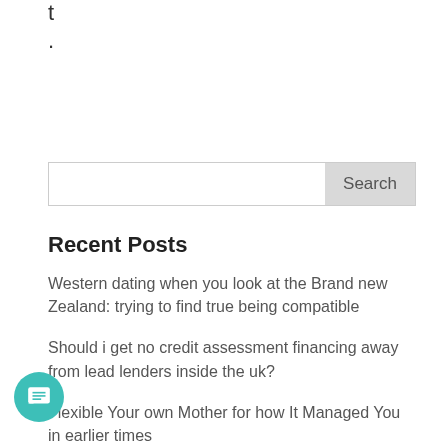t
.
Search
Recent Posts
Western dating when you look at the Brand new Zealand: trying to find true being compatible
Should i get no credit assessment financing away from lead lenders inside the uk?
Flexible Your own Mother for how It Managed You in earlier times
Sur son leiu de festival de la video active pour